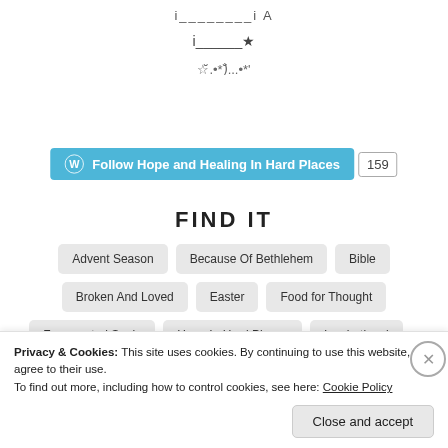[Figure (illustration): Decorative ASCII/symbol art with lines, stars, and emoticons arranged vertically near the top of the page]
Follow Hope and Healing In Hard Places  159
FIND IT
Advent Season
Because Of Bethlehem
Bible
Broken And Loved
Easter
Food for Thought
Fragmented Souls
Hope In Hard Places
Inspirational
Just For Fun
Just Thinking
Little Thoughts For Big Days
Privacy & Cookies: This site uses cookies. By continuing to use this website, you agree to their use.
To find out more, including how to control cookies, see here: Cookie Policy
Close and accept